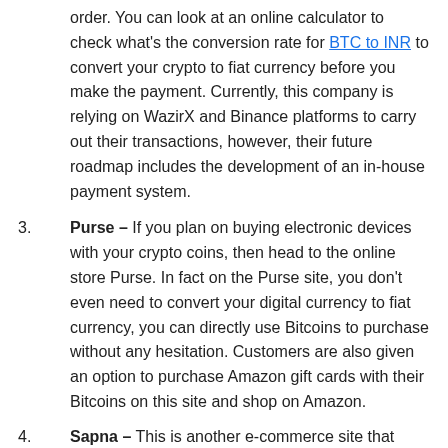order. You can look at an online calculator to check what's the conversion rate for BTC to INR to convert your crypto to fiat currency before you make the payment. Currently, this company is relying on WazirX and Binance platforms to carry out their transactions, however, their future roadmap includes the development of an in-house payment system.
3. Purse – If you plan on buying electronic devices with your crypto coins, then head to the online store Purse. In fact on the Purse site, you don't even need to convert your digital currency to fiat currency, you can directly use Bitcoins to purchase without any hesitation. Customers are also given an option to purchase Amazon gift cards with their Bitcoins on this site and shop on Amazon.
4. Sapna – This is another e-commerce site that accepts crypto tokens to [share icons] ne site. From books, different [currency, home, health] care products,